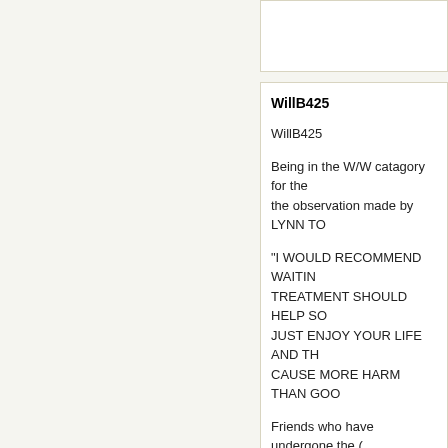WillB425
WillB425
Being in the W/W catagory for the observation made by LYNN TO
“I WOULD RECOMMEND WAITIN TREATMENT SHOULD HELP SO JUST ENJOY YOUR LIFE AND TH CAUSE MORE HARM THAN GOO
Friends who have undergone the evaluate and consider…and with m
Chaya…you are greatest…thx.
Linda Lee
To LYNN TORTORELLO: